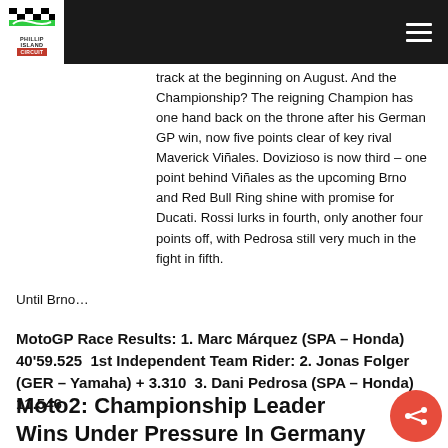Phillip Island Circuit
track at the beginning on August. And the Championship? The reigning Champion has one hand back on the throne after his German GP win, now five points clear of key rival Maverick Viñales. Dovizioso is now third – one point behind Viñales as the upcoming Brno and Red Bull Ring shine with promise for Ducati. Rossi lurks in fourth, only another four points off, with Pedrosa still very much in the fight in fifth.
Until Brno…
MotoGP Race Results: 1. Marc Márquez (SPA – Honda) 40'59.525  1st Independent Team Rider: 2. Jonas Folger (GER – Yamaha) + 3.310  3. Dani Pedrosa (SPA – Honda) 11.546
Moto2: Championship Leader Wins Under Pressure In Germany As Luthi And Marquez Crash Out